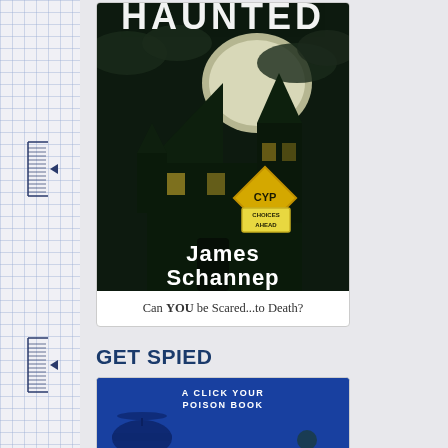[Figure (illustration): Book cover of 'HAUNTED' by James Schannep — dark haunted Victorian mansion at night with large moon, yellow diamond CYP sign reading 'CHOICES AHEAD', with author name in bold gothic font at bottom. Card includes caption text below.]
Can YOU be Scared...to Death?
GET SPIED
[Figure (illustration): Partial book cover with blue background showing text 'A CLICK YOUR POISON BOOK' at top, with illustrated figure visible at bottom edge]